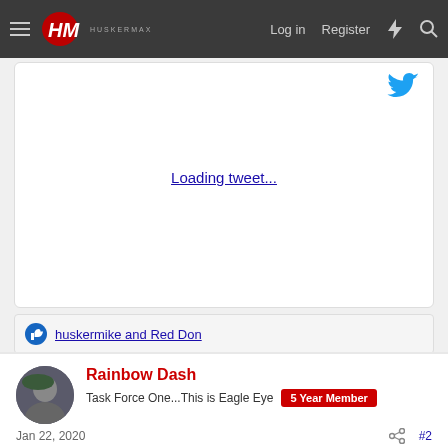Log in | Register
[Figure (screenshot): Tweet embed area showing Twitter bird icon and 'Loading tweet...' link in center]
huskermike and Red Don
Rainbow Dash
Task Force One...This is Eagle Eye | 5 Year Member
Jan 22, 2020